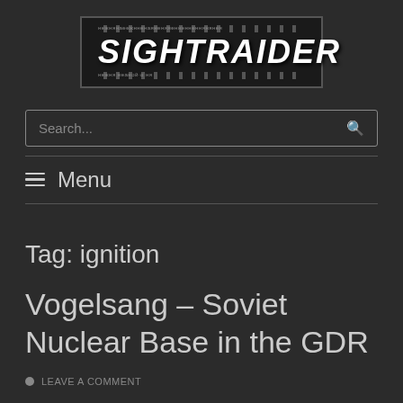[Figure (logo): SIGHTRAIDER website logo with filmstrip border design, white bold italic text on dark background]
Search...
≡  Menu
Tag: ignition
Vogelsang – Soviet Nuclear Base in the GDR
LEAVE A COMMENT